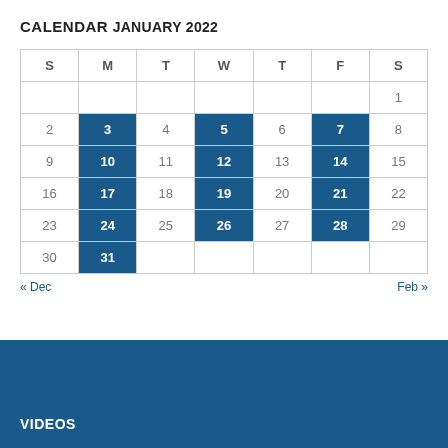CALENDAR
JANUARY 2022
| S | M | T | W | T | F | S |
| --- | --- | --- | --- | --- | --- | --- |
|  |  |  |  |  |  | 1 |
| 2 | 3 | 4 | 5 | 6 | 7 | 8 |
| 9 | 10 | 11 | 12 | 13 | 14 | 15 |
| 16 | 17 | 18 | 19 | 20 | 21 | 22 |
| 23 | 24 | 25 | 26 | 27 | 28 | 29 |
| 30 | 31 |  |  |  |  |  |
« Dec    Feb »
VIDEOS